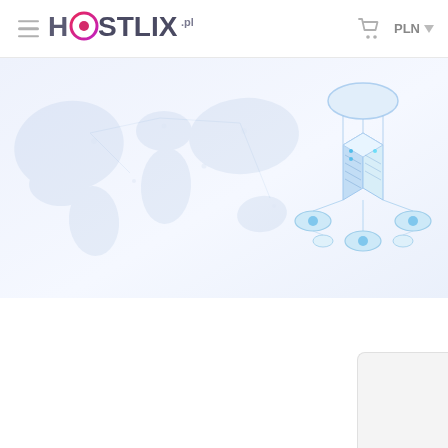HOSTLIX.pl navigation header with hamburger menu, logo, cart icon, and PLN currency selector
[Figure (illustration): Hostlix.pl website screenshot showing navigation bar at top with hamburger menu, HOSTLIX.pl logo in pink/purple, cart icon and PLN currency dropdown on right. Below is a hero section with light blue/grey gradient background containing a faint world map outline and a 3D isometric server/cloud hosting illustration in light blue tones on the right side. The rest of the page is white with a partial card visible in the bottom right corner.]